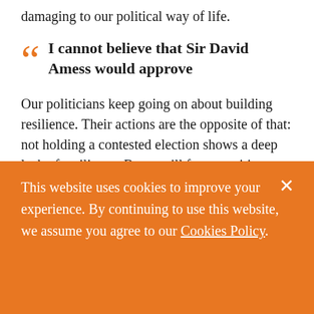damaging to our political way of life.
I cannot believe that Sir David Amess would approve
Our politicians keep going on about building resilience. Their actions are the opposite of that: not holding a contested election shows a deep lack of resilience. Better still for opposition parties, they can show their “honour” and “decency” very
This website uses cookies to improve your experience. By continuing to use this website, we assume you agree to our Cookies Policy.